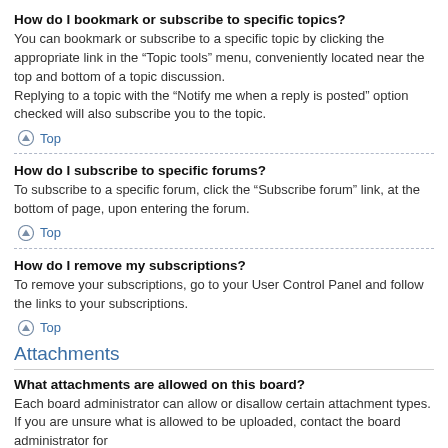How do I bookmark or subscribe to specific topics?
You can bookmark or subscribe to a specific topic by clicking the appropriate link in the “Topic tools” menu, conveniently located near the top and bottom of a topic discussion.
Replying to a topic with the “Notify me when a reply is posted” option checked will also subscribe you to the topic.
Top
How do I subscribe to specific forums?
To subscribe to a specific forum, click the “Subscribe forum” link, at the bottom of page, upon entering the forum.
Top
How do I remove my subscriptions?
To remove your subscriptions, go to your User Control Panel and follow the links to your subscriptions.
Top
Attachments
What attachments are allowed on this board?
Each board administrator can allow or disallow certain attachment types. If you are unsure what is allowed to be uploaded, contact the board administrator for